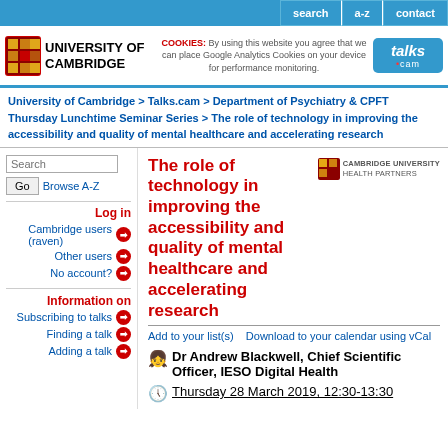search   a-z   contact
[Figure (logo): University of Cambridge logo with shield and text, talks.cam logo, cookie notice]
University of Cambridge > Talks.cam > Department of Psychiatry & CPFT Thursday Lunchtime Seminar Series > The role of technology in improving the accessibility and quality of mental healthcare and accelerating research
The role of technology in improving the accessibility and quality of mental healthcare and accelerating research
[Figure (logo): Cambridge University Health Partners logo]
Add to your list(s)    Download to your calendar using vCal
Dr Andrew Blackwell, Chief Scientific Officer, IESO Digital Health
Thursday 28 March 2019, 12:30-13:30
Search
Log in
Cambridge users (raven)
Other users
No account?
Information on
Subscribing to talks
Finding a talk
Adding a talk